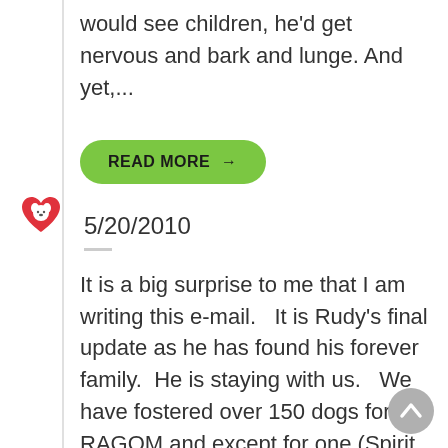would see children, he'd get nervous and bark and lunge. And yet,...
READ MORE →
5/20/2010
It is a big surprise to me that I am writing this e-mail.   It is Rudy's final update as he has found his forever family.  He is staying with us.   We have fostered over 150 dogs for RAGOM and except for one (Spirit 01-304), we have